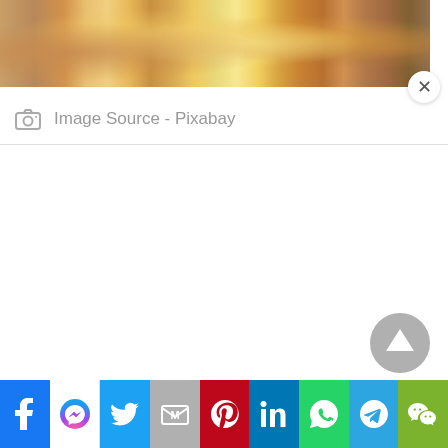[Figure (screenshot): A screenshot of a webpage showing a food image strip at the top (cropped photo of food/drinks from Pixabay), an image source attribution bar showing a camera icon and the text 'Image Source - Pixabay', a close (X) button, a white content area below, a grey circular up/scroll-to-top button in the lower right, and a horizontal social sharing toolbar at the bottom with icons for Facebook, Messenger, Twitter, Mail, Pinterest, LinkedIn, WhatsApp, Telegram, and WeChat.]